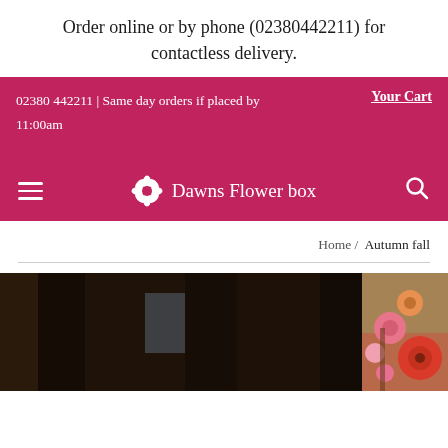Order online or by phone (02380442211) for contactless delivery.
02380 442211 | Same day orders if placed by 11:00am   Your Cart
[Figure (logo): Dawns Flower box logo and navigation bar with hamburger menu, flower icon, brand name, and search icon on pink/magenta background]
Home / Autumn fall
[Figure (photo): Partial view of a flower arrangement with autumn/fall flowers including gerberas and chrysanthemums in orange, pink and red colours, with dark wooden structural elements in the foreground]